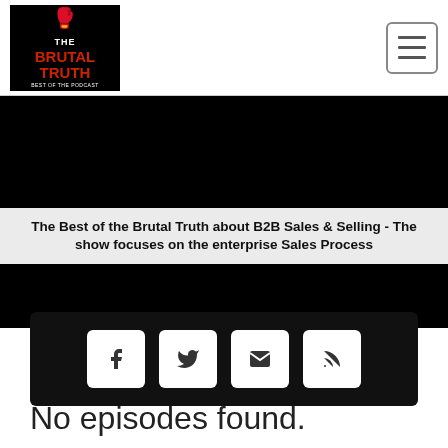The Brutal Truth
[Figure (screenshot): Black hero banner area with podcast cover]
The Best of the Brutal Truth about B2B Sales & Selling - The show focuses on the enterprise Sales Process
[Figure (infographic): Social media share buttons: Facebook, Twitter, Email, RSS]
No episodes found.